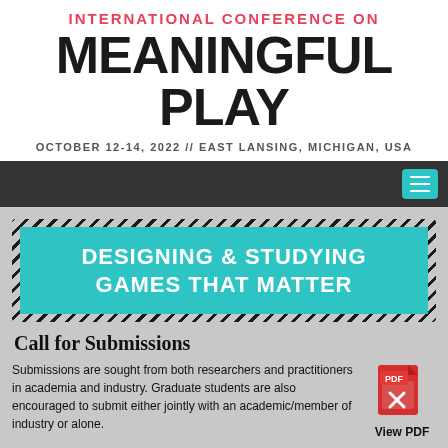INTERNATIONAL CONFERENCE ON
MEANINGFUL PLAY
OCTOBER 12-14, 2022 // EAST LANSING, MICHIGAN, USA
[Figure (other): Dark navigation bar with teal hamburger menu icon on the right]
[Figure (other): Teal banner with diagonal hatch border reading: DESIGNING & STUDYING GAMES THAT MATTER]
Call for Submissions
Submissions are sought from both researchers and practitioners in academia and industry. Graduate students are also encouraged to submit either jointly with an academic/member of industry or alone.
[Figure (other): PDF icon with label 'View PDF']
Submissions to Meaningful Play 2022 are invited